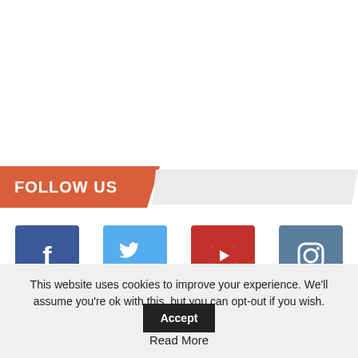FOLLOW US
[Figure (infographic): Four social media icons in a row: Facebook (blue square with f icon), Twitter (light blue square with bird icon), YouTube (red square with play button icon), Instagram (steel blue square with camera icon). Below each icon: Facebook / Likes, 422 / Followers, 20 / Subscribers, Instagram / Followers.]
This website uses cookies to improve your experience. We'll assume you're ok with this, but you can opt-out if you wish.
Accept
Read More